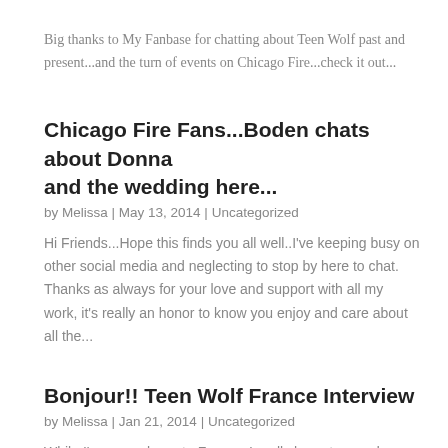Big thanks to My Fanbase for chatting about Teen Wolf past and present...and the turn of events on Chicago Fire...check it out...
Chicago Fire Fans...Boden chats about Donna and the wedding here...
by Melissa | May 13, 2014 | Uncategorized
Hi Friends...Hope this finds you all well..I've keeping busy on other social media and neglecting to stop by here to chat. Thanks as always for your love and support with all my work, it's really an honor to know you enjoy and care about all the...
Bonjour!! Teen Wolf France Interview
by Melissa | Jan 21, 2014 | Uncategorized
While I've never been to France, I really hope to one day...the warmness of the getting to know what's invited...